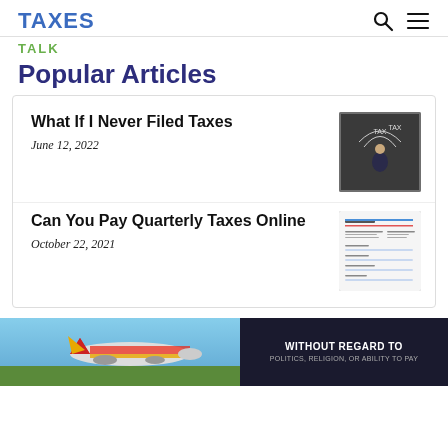TAXES
TALK
Popular Articles
What If I Never Filed Taxes
June 12, 2022
[Figure (photo): Person looking up at chalkboard with TAX TAX written in arrows above them]
Can You Pay Quarterly Taxes Online
October 22, 2021
[Figure (photo): IRS tax form document screenshot]
[Figure (photo): Advertisement banner showing cargo airplane with Southwest Airlines branding and text WITHOUT REGARD TO]